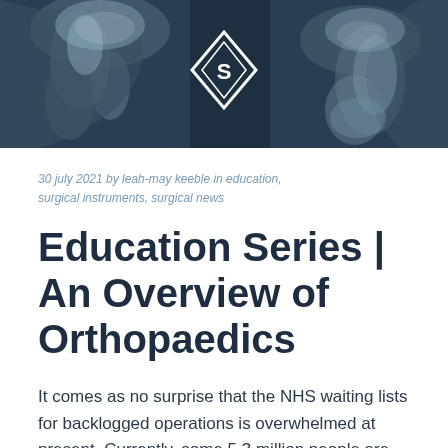[Figure (photo): X-ray images of bones (shoulder/knee joints) with a diamond-shaped logo overlay in the center on a dark blue-grey background]
30 july 2021 by leah-may keeble in education, surgical instruments, surgical news
Education Series | An Overview of Orthopaedics
It comes as no surprise that the NHS waiting lists for backlogged operations is overwhelmed at present. Currently, some 5.3 million people are waiting for routine operations and procedures in